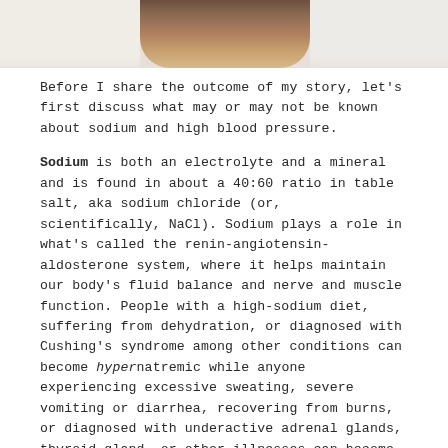[Figure (photo): Partial photo of a person's neck/skin, cropped at the top of the page]
Before I share the outcome of my story, let's first discuss what may or may not be known about sodium and high blood pressure.
Sodium is both an electrolyte and a mineral and is found in about a 40:60 ratio in table salt, aka sodium chloride (or, scientifically, NaCl). Sodium plays a role in what's called the renin-angiotensin-aldosterone system, where it helps maintain our body's fluid balance and nerve and muscle function. People with a high-sodium diet, suffering from dehydration, or diagnosed with Cushing's syndrome among other conditions can become hypernatremic while anyone experiencing excessive sweating, severe vomiting or diarrhea, recovering from burns, or diagnosed with underactive adrenal glands, thyroid gland, or other illnesses can become hyponatremic.
According to the USDA...